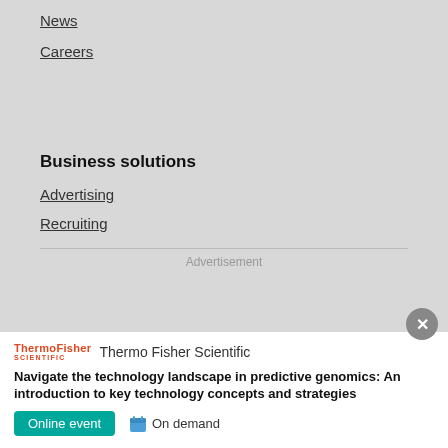News
Careers
Business solutions
Advertising
Recruiting
Advertisement
Thermo Fisher Scientific
Navigate the technology landscape in predictive genomics: An introduction to key technology concepts and strategies
Online event   On demand